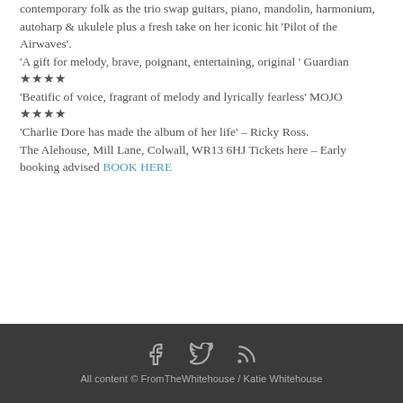contemporary folk as the trio swap guitars, piano, mandolin, harmonium, autoharp & ukulele plus a fresh take on her iconic hit 'Pilot of the Airwaves'. 'A gift for melody, brave, poignant, entertaining, original ' Guardian ★★★★ 'Beatific of voice, fragrant of melody and lyrically fearless' MOJO ★★★★ 'Charlie Dore has made the album of her life' – Ricky Ross. The Alehouse, Mill Lane, Colwall, WR13 6HJ Tickets here – Early booking advised BOOK HERE
All content © FromTheWhitehouse / Katie Whitehouse